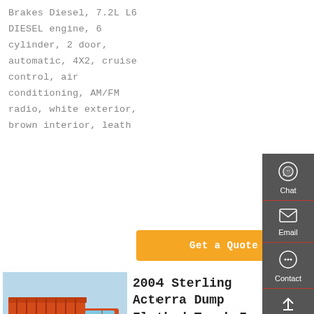Brakes Diesel, 7.2L L6 DIESEL engine, 6 cylinder, 2 door, automatic, 4X2, cruise control, air conditioning, AM/FM radio, white exterior, brown interior, leather
Get a Quote
[Figure (other): Sidebar with Chat, Email, Contact, and Top navigation icons on dark grey background]
[Figure (photo): A red dump truck (2004 Sterling Acterra) photographed outdoors in a yard, front-left quarter view.]
2004 Sterling Acterra Dump Flatbed Truck In Siren, WI